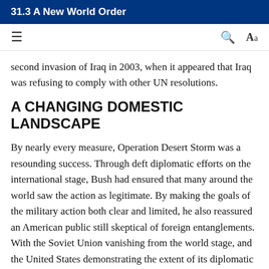31.3 A New World Order
second invasion of Iraq in 2003, when it appeared that Iraq was refusing to comply with other UN resolutions.
A CHANGING DOMESTIC LANDSCAPE
By nearly every measure, Operation Desert Storm was a resounding success. Through deft diplomatic efforts on the international stage, Bush had ensured that many around the world saw the action as legitimate. By making the goals of the military action both clear and limited, he also reassured an American public still skeptical of foreign entanglements. With the Soviet Union vanishing from the world stage, and the United States demonstrating the extent of its diplomatic influence and military potency with President Bush at the helm, his